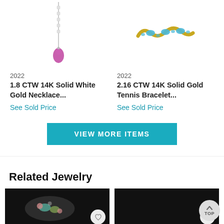[Figure (photo): Product image of a pink teardrop gemstone pendant on a white gold chain with small diamond accents]
2022
1.8 CTW 14K Solid White Gold Necklace...
See Sold Price
[Figure (photo): Product image of a gold tennis bracelet with blue oval gemstones set in a wavy gold band]
2022
2.16 CTW 14K Solid Gold Tennis Bracelet...
See Sold Price
VIEW MORE ITEMS
Related Jewelry
[Figure (photo): Thumbnail of a vintage-style brooch with green and pink gemstones on black background]
[Figure (photo): Thumbnail of a jewelry item on black background (partially visible)]